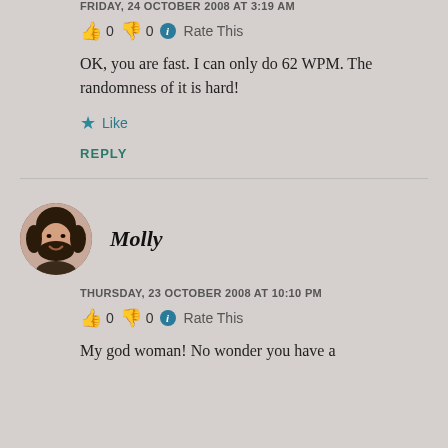FRIDAY, 24 OCTOBER 2008 AT 3:19 AM
👍 0 👎 0 ℹ Rate This
OK, you are fast. I can only do 62 WPM. The randomness of it is hard!
★ Like
REPLY
Molly
THURSDAY, 23 OCTOBER 2008 AT 10:10 PM
👍 0 👎 0 ℹ Rate This
My god woman! No wonder you have a